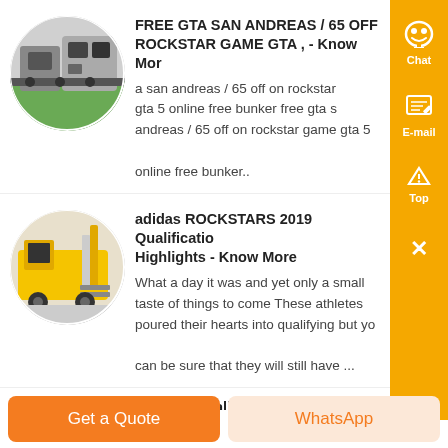[Figure (photo): Circular thumbnail of a factory machine (manufacturing equipment, green floor visible)]
FREE GTA SAN ANDREAS / 65 OFF ROCKSTAR GAME GTA , - Know More
a san andreas / 65 off on rockstar gta 5 online free bunker free gta s andreas / 65 off on rockstar game gta 5 online free bunker..
[Figure (photo): Circular thumbnail of yellow industrial forklift/construction machine]
adidas ROCKSTARS 2019 Qualifications Highlights - Know More
What a day it was and yet only a small taste of things to come These athletes poured their hearts into qualifying but you can be sure that they will still have ...
[Figure (photo): Partial circular thumbnail of another machine/equipment (partially visible at bottom)]
Qualifying Qualifier Some Athletes...